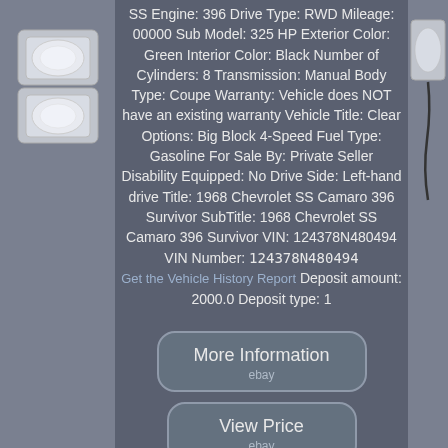SS Engine: 396 Drive Type: RWD Mileage: 00000 Sub Model: 325 HP Exterior Color: Green Interior Color: Black Number of Cylinders: 8 Transmission: Manual Body Type: Coupe Warranty: Vehicle does NOT have an existing warranty Vehicle Title: Clear Options: Big Block 4-Speed Fuel Type: Gasoline For Sale By: Private Seller Disability Equipped: No Drive Side: Left-hand drive Title: 1968 Chevrolet SS Camaro 396 Survivor SubTitle: 1968 Chevrolet SS Camaro 396 Survivor VIN: 124378N480494 VIN Number: 124378N480494 Get the Vehicle History Report Deposit amount: 2000.0 Deposit type: 1
[Figure (other): Button linking to more information on eBay]
[Figure (other): Button linking to view price on eBay]